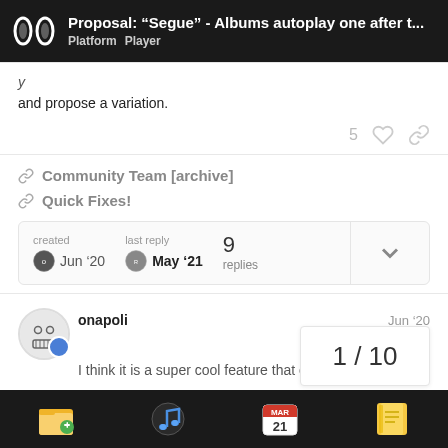Proposal: “Segue” - Albums autoplay one after t... | Platform  Player
and propose a variation.
Community Team [archive]
Quick Fixes!
| created | last reply | replies |
| --- | --- | --- |
| Jun ’20 | May ’21 | 9 replies |
onapoli    Jun ’20
1 / 10